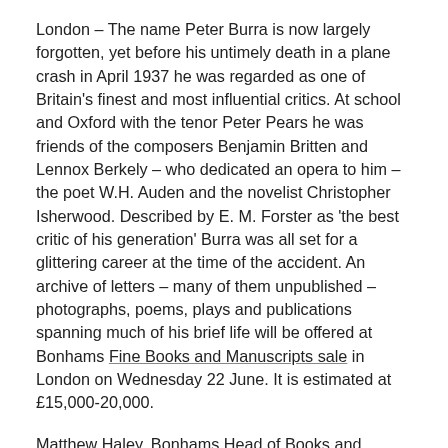London – The name Peter Burra is now largely forgotten, yet before his untimely death in a plane crash in April 1937 he was regarded as one of Britain's finest and most influential critics. At school and Oxford with the tenor Peter Pears he was friends of the composers Benjamin Britten and Lennox Berkely – who dedicated an opera to him – the poet W.H. Auden and the novelist Christopher Isherwood. Described by E. M. Forster as 'the best critic of his generation' Burra was all set for a glittering career at the time of the accident. An archive of letters – many of them unpublished – photographs, poems, plays and publications spanning much of his brief life will be offered at Bonhams Fine Books and Manuscripts sale in London on Wednesday 22 June. It is estimated at £15,000-20,000.
Matthew Haley, Bonhams Head of Books and Manuscripts, said: "Reading Peter Burra's letters and the other wonderful material in this archive it is impossible not to wonder what great things he might have gone on to